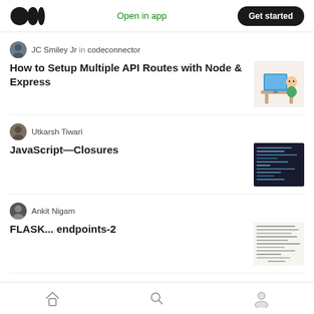Medium logo | Open in app | Get started
JC Smiley Jr in codeconnector
How to Setup Multiple API Routes with Node & Express
[Figure (illustration): Cartoon character sitting at a computer desk]
Utkarsh Tiwari
JavaScript—Closures
[Figure (screenshot): Dark-themed code editor screenshot]
Ankit Nigam
FLASK... endpoints-2
[Figure (photo): Handwritten notes on paper]
ZeroesAndOnes
How to copy text to clipboard in Angular
[Figure (screenshot): Dark code editor screenshot]
Home | Search | Profile